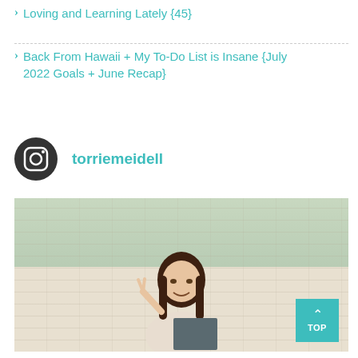Loving and Learning Lately {45}
Back From Hawaii + My To-Do List is Insane {July 2022 Goals + June Recap}
torriemeidell
[Figure (photo): A smiling young girl with long dark hair making a peace sign, standing in front of a white brick wall with greenery, holding a chalkboard sign]